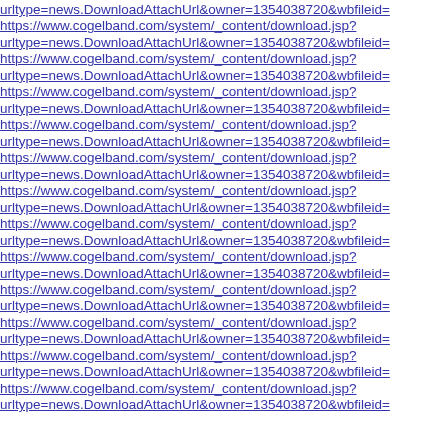urltype=news.DownloadAttachUrl&owner=1354038720&wbfileid=
https://www.cogelband.com/system/_content/download.jsp?urltype=news.DownloadAttachUrl&owner=1354038720&wbfileid=
https://www.cogelband.com/system/_content/download.jsp?urltype=news.DownloadAttachUrl&owner=1354038720&wbfileid=
https://www.cogelband.com/system/_content/download.jsp?urltype=news.DownloadAttachUrl&owner=1354038720&wbfileid=
https://www.cogelband.com/system/_content/download.jsp?urltype=news.DownloadAttachUrl&owner=1354038720&wbfileid=
https://www.cogelband.com/system/_content/download.jsp?urltype=news.DownloadAttachUrl&owner=1354038720&wbfileid=
https://www.cogelband.com/system/_content/download.jsp?urltype=news.DownloadAttachUrl&owner=1354038720&wbfileid=
https://www.cogelband.com/system/_content/download.jsp?urltype=news.DownloadAttachUrl&owner=1354038720&wbfileid=
https://www.cogelband.com/system/_content/download.jsp?urltype=news.DownloadAttachUrl&owner=1354038720&wbfileid=
https://www.cogelband.com/system/_content/download.jsp?urltype=news.DownloadAttachUrl&owner=1354038720&wbfileid=
https://www.cogelband.com/system/_content/download.jsp?urltype=news.DownloadAttachUrl&owner=1354038720&wbfileid=
https://www.cogelband.com/system/_content/download.jsp?urltype=news.DownloadAttachUrl&owner=1354038720&wbfileid=
https://www.cogelband.com/system/_content/download.jsp?urltype=news.DownloadAttachUrl&owner=1354038720&wbfileid=